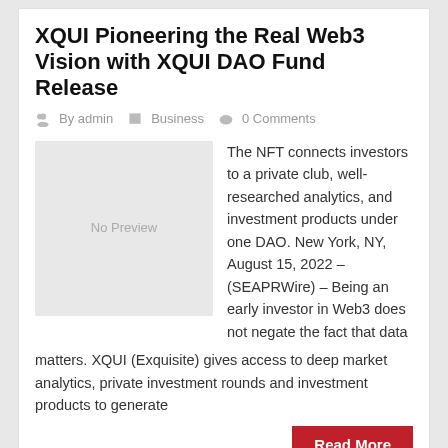XQUI Pioneering the Real Web3 Vision with XQUI DAO Fund Release
By admin  Business  0 Comments
The NFT connects investors to a private club, well-researched analytics, and investment products under one DAO. New York, NY, August 15, 2022 – (SEAPRWire) – Being an early investor in Web3 does not negate the fact that data matters. XQUI (Exquisite) gives access to deep market analytics, private investment rounds and investment products to generate
Read More
August 15, 2022
Woman Rides to the Arctic Ocean